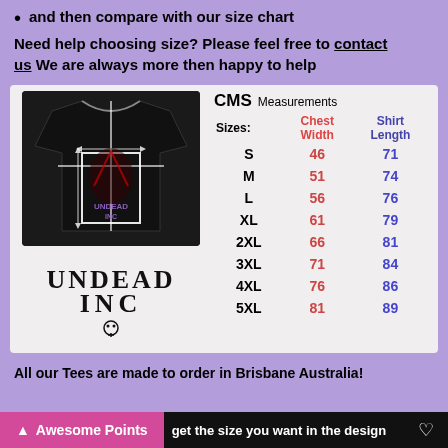and then compare with our size chart
Need help choosing size? Please feel free to contact us We are always more then happy to help
[Figure (illustration): T-shirt product image with measurement overlay lines showing chest width and shirt length, with Undead Inc logo graphic on the shirt. Below the shirt photo is the Undead Inc logo in decorative text.]
| Sizes: | Chest Width (CMS) | Shirt Length (CMS) |
| --- | --- | --- |
| S | 46 | 71 |
| M | 51 | 74 |
| L | 56 | 76 |
| XL | 61 | 79 |
| 2XL | 66 | 81 |
| 3XL | 71 | 84 |
| 4XL | 76 | 86 |
| 5XL | 81 | 89 |
All our Tees are made to order in Brisbane Australia!
get the size you want in the design